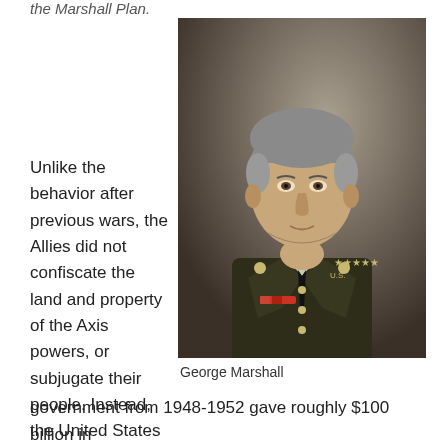the Marshall Plan.
[Figure (photo): Portrait photograph of George Marshall in military uniform with medals and insignia]
George Marshall
Unlike the behavior after previous wars, the Allies did not confiscate the land and property of the Axis powers, or subjugate their people. Instead, the United States government from 1948-1952 gave roughly $100 billion in today's dollars to rebuild their economies.